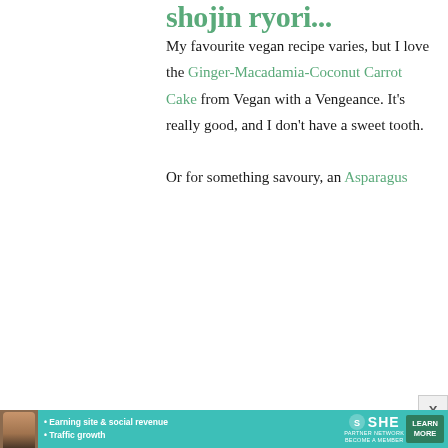shojin ryori...
My favourite vegan recipe varies, but I love the Ginger-Macadamia-Coconut Carrot Cake from Vegan with a Vengeance. It's really good, and I don't have a sweet tooth.

Or for something savoury, an Asparagus
[Figure (infographic): SHE Partner Network advertisement banner at bottom with photo of woman, bullet points about earning site & social revenue and traffic growth, SHE logo, and Learn More button]